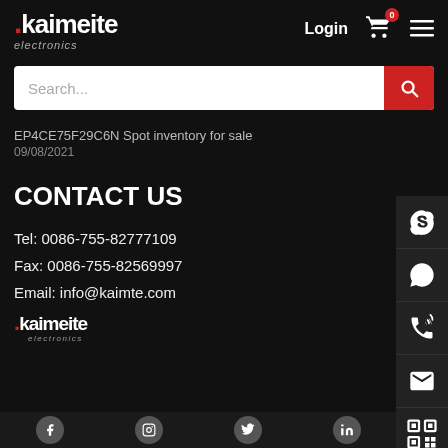Kaimeite electronics | Login | Cart 0 | Menu
Search...
EP4CE75F29C6N Spot inventory for sale
09/08/2021
CONTACT US
Tel: 0086-755-82777109
Fax: 0086-755-82569997
Email: info@kaimte.com
[Figure (logo): Kaimeite electronics logo in white with red dot]